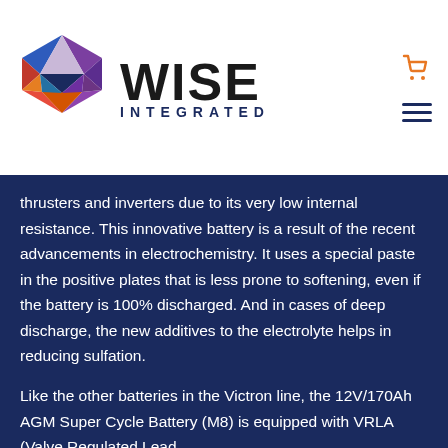[Figure (logo): Wise Integrated logo with colorful geometric hexagon icon and company name]
thrusters and inverters due to its very low internal resistance. This innovative battery is a result of the recent advancements in electrochemistry. It uses a special paste in the positive plates that is less prone to softening, even if the battery is 100% discharged. And in cases of deep discharge, the new additives to the electrolyte helps in reducing sulfation.
Like the other batteries in the Victron line, the 12V/170Ah AGM Super Cycle Battery (M8) is equipped with VRLA (Valve Regulated Lead...